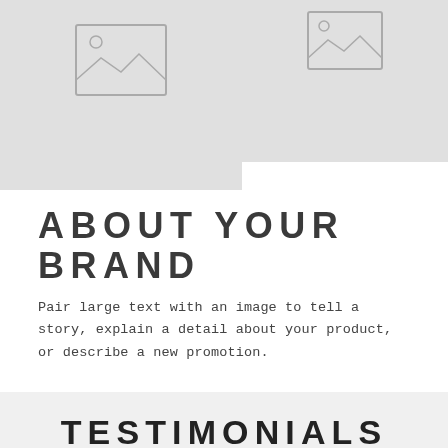[Figure (illustration): Two image placeholder boxes arranged side by side. Left placeholder is taller, right placeholder is shorter. Both show a generic landscape image placeholder icon (rectangle with mountain and sun outline).]
ABOUT YOUR BRAND
Pair large text with an image to tell a story, explain a detail about your product, or describe a new promotion.
TESTIMONIALS